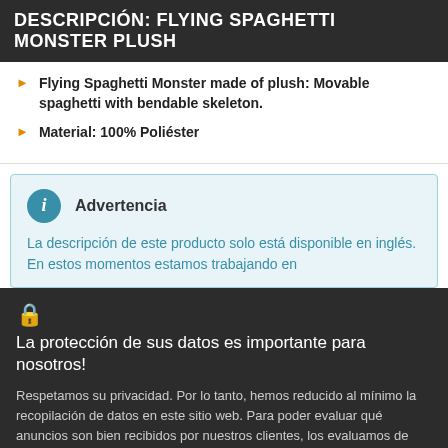DESCRIPCIÓN: FLYING SPAGHETTI MONSTER PLUSH
Flying Spaghetti Monster made of plush: Movable spaghetti with bendable skeleton.
Material: 100% Poliéster
Advertencia
La descripción de este producto solo está disponible en inglés. En estos momentos estamos trabajando en
La protección de sus datos es importante para nosotros!
Respetamos su privacidad. Por lo tanto, hemos reducido al mínimo la recopilación de datos en este sitio web. Para poder evaluar qué anuncios son bien recibidos por nuestros clientes, los evaluamos de forma anónima. Para ello utilizamos cookies y un llamado píxel de Facebook. ¿Quiere saber más detalles o no está de acuerdo? Entonces mire nuestro declaración de privacidad
ACEPTAR